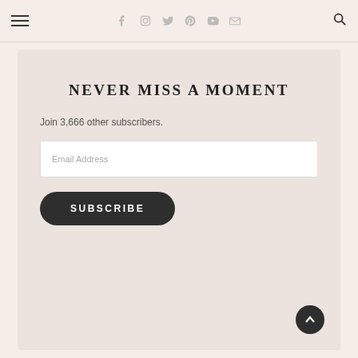Navigation bar with hamburger menu, social icons (Facebook, Instagram, Twitter, Pinterest, YouTube, Email), and search icon
NEVER MISS A MOMENT
Join 3,666 other subscribers.
Email Address
SUBSCRIBE